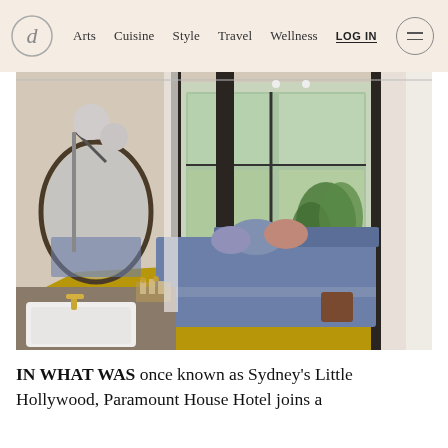Arts  Cuisine  Style  Travel  Wellness  LOG IN
[Figure (photo): Interior of a hotel room with blue bedding, mustard yellow carpet, large windows with plants, a round mirror with globe lamp, and a white farmhouse sink with glassware on a counter in the foreground.]
IN WHAT WAS once known as Sydney's Little Hollywood, Paramount House Hotel joins a